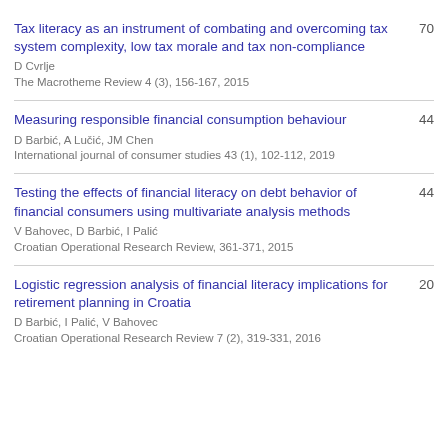Tax literacy as an instrument of combating and overcoming tax system complexity, low tax morale and tax non-compliance
D Cvrlje
The Macrotheme Review 4 (3), 156-167, 2015
70
Measuring responsible financial consumption behaviour
D Barbić, A Lučić, JM Chen
International journal of consumer studies 43 (1), 102-112, 2019
44
Testing the effects of financial literacy on debt behavior of financial consumers using multivariate analysis methods
V Bahovec, D Barbić, I Palić
Croatian Operational Research Review, 361-371, 2015
44
Logistic regression analysis of financial literacy implications for retirement planning in Croatia
D Barbić, I Palić, V Bahovec
Croatian Operational Research Review 7 (2), 319-331, 2016
20